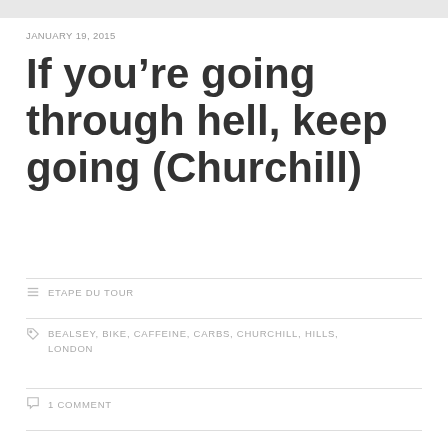JANUARY 19, 2015
If you’re going through hell, keep going (Churchill)
ETAPE DU TOUR
BEALSEY, BIKE, CAFFEINE, CARBS, CHURCHILL, HILLS, LONDON
1 COMMENT